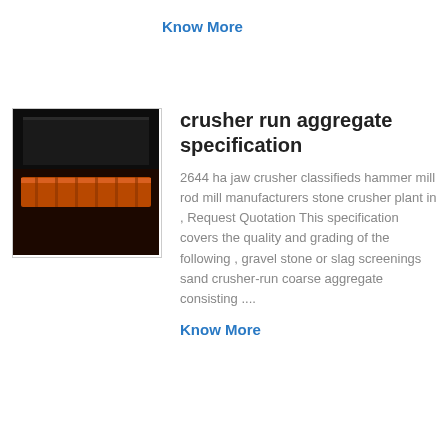Know More
[Figure (photo): Industrial conveyor/crusher equipment with orange belt on dark background]
crusher run aggregate specification
2644 ha jaw crusher classifieds hammer mill rod mill manufacturers stone crusher plant in , Request Quotation This specification covers the quality and grading of the following , gravel stone or slag screenings sand crusher-run coarse aggregate consisting ....
Know More
[Figure (photo): Green industrial jaw crusher machine 600X300]
Zenith High Performance Jaw Crusher 600X300 with CE ,
zenith 2644 ha jaw crusher - deepintheseabe China Zenith High Performance Jaw Crusher 600X300 with China Zenith High Performance Jaw...